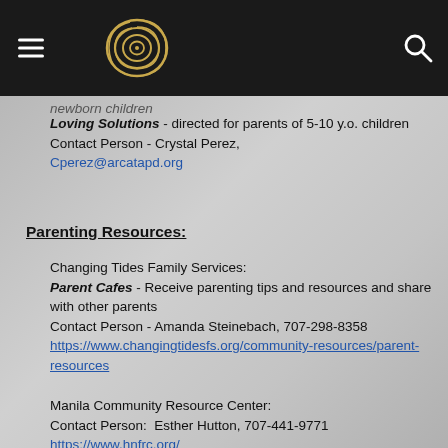[Navigation header with hamburger menu, logo, and search icon]
...Newborn children
Loving Solutions - directed for parents of 5-10 y.o. children
Contact Person - Crystal Perez, Cperez@arcatapd.org
Parenting Resources:
Changing Tides Family Services:
Parent Cafes - Receive parenting tips and resources and share with other parents
Contact Person - Amanda Steinebach, 707-298-8358
https://www.changingtidesfs.org/community-resources/parent-resources
Manila Community Resource Center:
Contact Person: Esther Hutton, 707-441-9771
https://www.hnfrc.org/